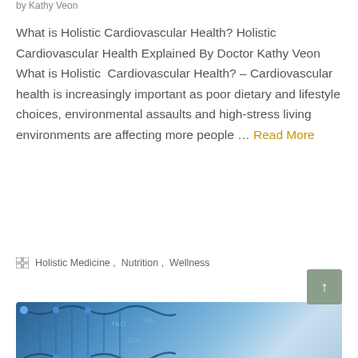by Kathy Veon
What is Holistic Cardiovascular Health? Holistic Cardiovascular Health Explained By Doctor Kathy Veon What is Holistic Cardiovascular Health? – Cardiovascular health is increasingly important as poor dietary and lifestyle choices, environmental assaults and high-stress living environments are affecting more people … Read More
Holistic Medicine, Nutrition, Wellness
[Figure (photo): Blue-toned scientific background image showing a DNA double helix structure on the left with molecular/chemical formula overlays on a blue gradient background]